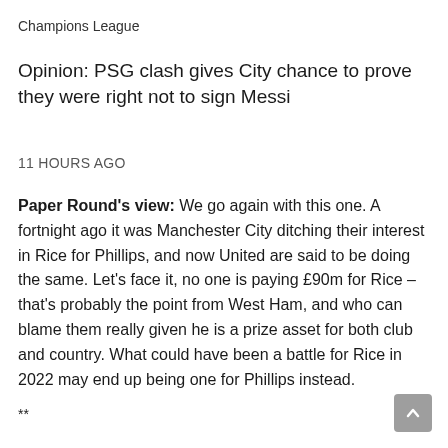Champions League
Opinion: PSG clash gives City chance to prove they were right not to sign Messi
11 HOURS AGO
Paper Round's view: We go again with this one. A fortnight ago it was Manchester City ditching their interest in Rice for Phillips, and now United are said to be doing the same. Let's face it, no one is paying £90m for Rice – that's probably the point from West Ham, and who can blame them really given he is a prize asset for both club and country. What could have been a battle for Rice in 2022 may end up being one for Phillips instead.
**